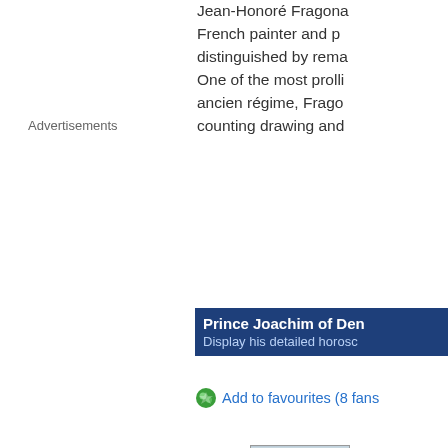Jean-Honoré Fragonard... French painter and p... distinguished by rema... One of the most proli... ancien régime, Frago... counting drawing and
Advertisements
Prince Joachim of Den...
Display his detailed horosc...
Add to favourites (8 fans
[Figure (photo): Portrait photo of Prince Joachim of Denmark in a suit]
Born:
In:
Sun:
Moon:
Dominants:
Chinese Astrology:
Numerology:
Height:
Pageviews: